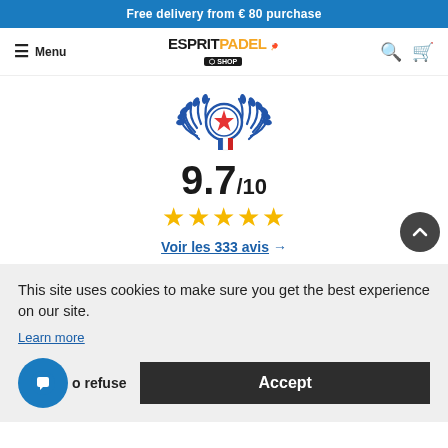Free delivery from € 80 purchase
[Figure (logo): EspritPadel Shop logo with navigation menu icon, search icon, and cart icon]
[Figure (illustration): French award badge with laurel wreath and tricolor medal]
9.7/10
[Figure (illustration): Five gold star rating]
Voir les 333 avis →
This site uses cookies to make sure you get the best experience on our site.
Learn more
o refuse
Accept